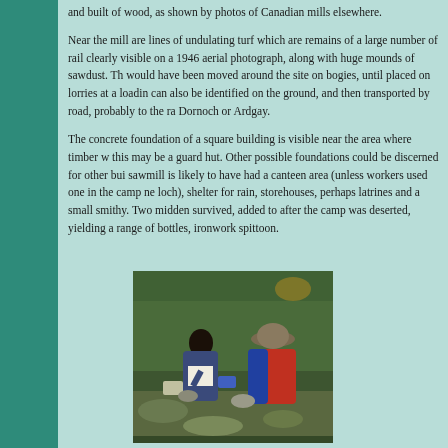and built of wood, as shown by photos of Canadian mills elsewhere.
Near the mill are lines of undulating turf which are remains of a large number of rail clearly visible on a 1946 aerial photograph, along with huge mounds of sawdust. Th would have been moved around the site on bogies, until placed on lorries at a loadin can also be identified on the ground, and then transported by road, probably to the ra Dornoch or Ardgay.
The concrete foundation of a square building is visible near the area where timber w this may be a guard hut. Other possible foundations could be discerned for other bui sawmill is likely to have had a canteen area (unless workers used one in the camp ne loch), shelter for rain, storehouses, perhaps latrines and a small smithy. Two midden survived, added to after the camp was deserted, yielding a range of bottles, ironwork spittoon.
[Figure (photo): Two people excavating or examining an archaeological site outdoors, one wearing a hat and red/blue jacket, one with dark hair writing on a clipboard. Various tools and trays visible.]